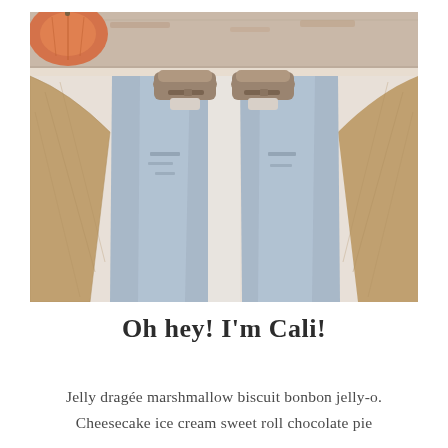[Figure (photo): Top-down view of a person wearing ripped light-wash blue jeans, a tan/camel knit cardigan, and brown suede ankle boots. They are standing on a cream/beige patterned rug. An orange pumpkin is visible at the top-left corner.]
Oh hey! I'm Cali!
Jelly dragée marshmallow biscuit bonbon jelly-o. Cheesecake ice cream sweet roll chocolate pie